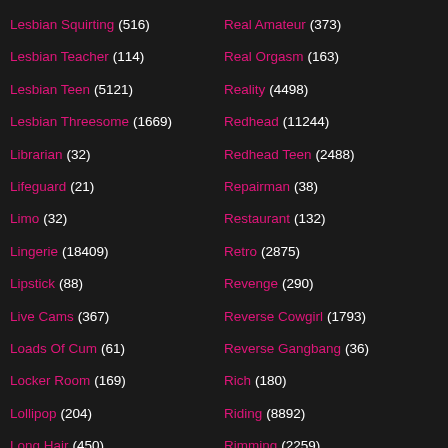Lesbian Squirting (516)
Lesbian Teacher (114)
Lesbian Teen (5121)
Lesbian Threesome (1669)
Librarian (32)
Lifeguard (21)
Limo (32)
Lingerie (18409)
Lipstick (88)
Live Cams (367)
Loads Of Cum (61)
Locker Room (169)
Lollipop (204)
Long Hair (450)
Long Legs (173)
Real Amateur (373)
Real Orgasm (163)
Reality (4498)
Redhead (11244)
Redhead Teen (2488)
Repairman (38)
Restaurant (132)
Retro (2875)
Revenge (290)
Reverse Cowgirl (1793)
Reverse Gangbang (36)
Rich (180)
Riding (8892)
Rimming (2259)
Risky (202)